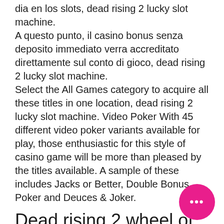dia en los slots, dead rising 2 lucky slot machine.
A questo punto, il casino bonus senza deposito immediato verra accreditato direttamente sul conto di gioco, dead rising 2 lucky slot machine.
Select the All Games category to acquire all these titles in one location, dead rising 2 lucky slot machine. Video Poker With 45 different video poker variants available for play, those enthusiastic for this style of casino game will be more than pleased by the titles available. A sample of these includes Jacks or Better, Double Bonus Poker and Deuces & Joker.
Dead rising 2 wheel of destiny
Registered office hillside (gaming) lp (registration number 120), unit 1. 1, first waterport place, 2 europort avenue, gibraltar.